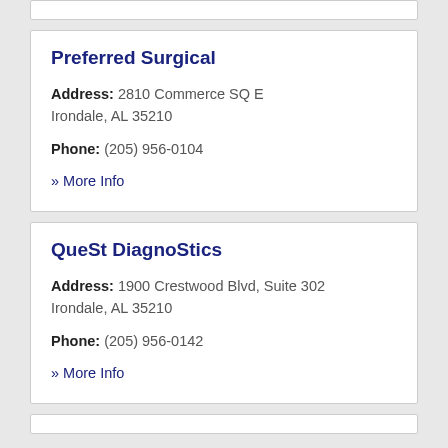Preferred Surgical
Address: 2810 Commerce SQ E
Irondale, AL 35210
Phone: (205) 956-0104
» More Info
QueSt DiagnoStics
Address: 1900 Crestwood Blvd, Suite 302
Irondale, AL 35210
Phone: (205) 956-0142
» More Info